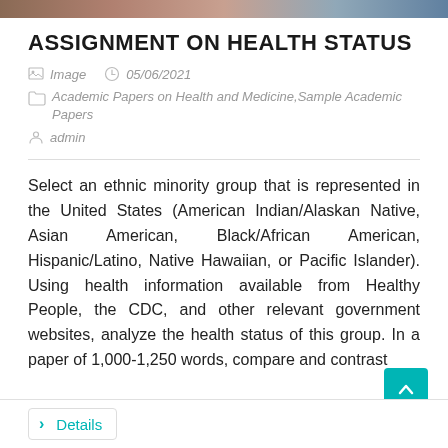[Figure (photo): Top image bar — cropped photo header]
ASSIGNMENT ON HEALTH STATUS
Image   05/06/2021
Academic Papers on Health and Medicine,Sample Academic Papers
admin
Select an ethnic minority group that is represented in the United States (American Indian/Alaskan Native, Asian American, Black/African American, Hispanic/Latino, Native Hawaiian, or Pacific Islander). Using health information available from Healthy People, the CDC, and other relevant government websites, analyze the health status of this group. In a paper of 1,000-1,250 words, compare and contrast
Details